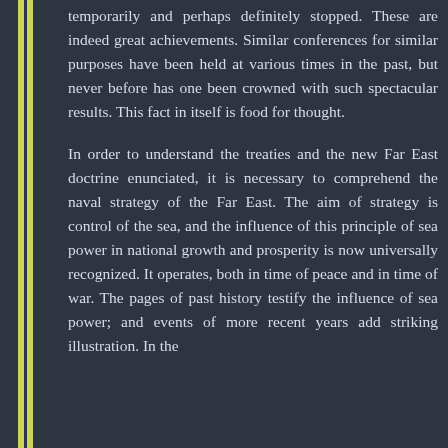temporarily and perhaps definitely stopped. These are indeed great achievements. Similar conferences for similar purposes have been held at various times in the past, but never before has one been crowned with such spectacular results. This fact in itself is food for thought.
In order to understand the treaties and the new Far East doctrine enunciated, it is necessary to comprehend the naval strategy of the Far East. The aim of strategy is control of the sea, and the influence of this principle of sea power in national growth and prosperity is now universally recognized. It operates, both in time of peace and in time of war. The pages of past history testify the influence of sea power; and events of more recent years add striking illustration. In the